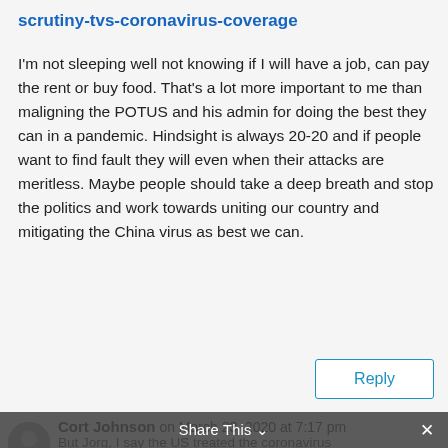scrutiny-tvs-coronavirus-coverage
I'm not sleeping well not knowing if I will have a job, can pay the rent or buy food. That's a lot more important to me than maligning the POTUS and his admin for doing the best they can in a pandemic. Hindsight is always 20-20 and if people want to find fault they will even when their attacks are meritless. Maybe people should take a deep breath and stop the politics and work towards uniting our country and mitigating the China virus as best we can.
Reply
Cort Johnson on March 23, 2020 at 7:17 pm
But Jorg, I say the US treated the coronavirus
Share This